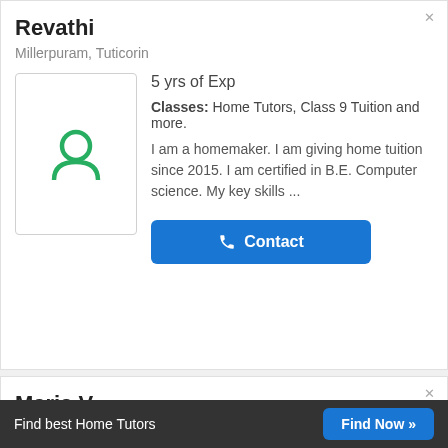Revathi
Millerpuram, Tuticorin
5 yrs of Exp
Classes: Home Tutors, Class 9 Tuition and more.
I am a homemaker. I am giving home tuition since 2015. I am certified in B.E. Computer science. My key skills ...
Maria V.
Chidambaranagar, Tuticorin
₹ 300 per hour
Classes: Home Tutors Class I-V Tuition
Find best Home Tutors   Find Now »